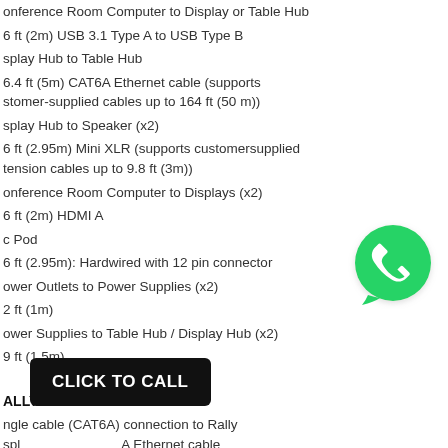Conference Room Computer to Display or Table Hub
6 ft (2m) USB 3.1 Type A to USB Type B
Display Hub to Table Hub
16.4 ft (5m) CAT6A Ethernet cable (supports customer-supplied cables up to 164 ft (50 m))
Display Hub to Speaker (x2)
9.6 ft (2.95m) Mini XLR (supports customersupplied extension cables up to 9.8 ft (3m))
Conference Room Computer to Displays (x2)
6 ft (2m) HDMI A
Mic Pod
9.6 ft (2.95m): Hardwired with 12 pin connector
Power Outlets to Power Supplies (x2)
3.2 ft (1m)
Power Supplies to Table Hub / Display Hub (x2)
4.9 ft (1.5m)
RALLY TABLE HUB:
Single cable (CAT6A) connection to Rally Display Hub via CAT6A Ethernet cable including customer-supplied cables up to 164 ft (50 m))
[Figure (logo): WhatsApp green phone icon]
[Figure (other): CLICK TO CALL black button overlay]